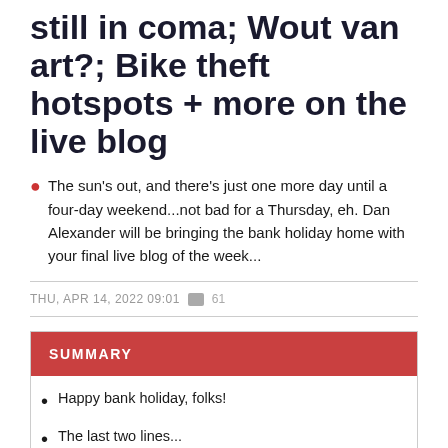still in coma; Wout van art?; Bike theft hotspots + more on the live blog
The sun's out, and there's just one more day until a four-day weekend...not bad for a Thursday, eh. Dan Alexander will be bringing the bank holiday home with your final live blog of the week...
THU, APR 14, 2022 09:01  61
SUMMARY
Happy bank holiday, folks!
The last two lines...